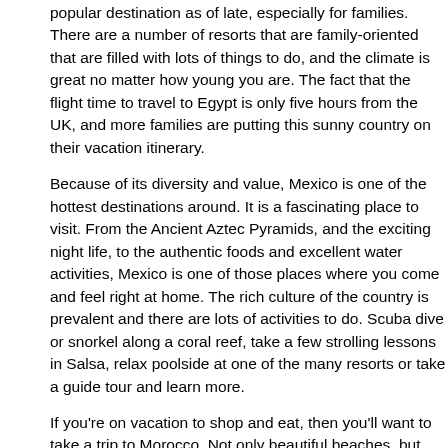popular destination as of late, especially for families. There are a number of resorts that are family-oriented that are filled with lots of things to do, and the climate is great no matter how young you are. The fact that the flight time to travel to Egypt is only five hours from the UK, and more families are putting this sunny country on their vacation itinerary.
Because of its diversity and value, Mexico is one of the hottest destinations around. It is a fascinating place to visit. From the Ancient Aztec Pyramids, and the exciting night life, to the authentic foods and excellent water activities, Mexico is one of those places where you come and feel right at home. The rich culture of the country is prevalent and there are lots of activities to do. Scuba dive or snorkel along a coral reef, take a few strolling lessons in Salsa, relax poolside at one of the many resorts or take a guide tour and learn more.
If you're on vacation to shop and eat, then you'll want to take a trip to Morocco. Not only beautiful beaches, but there is so much more to Morocco. You can find some absolutely amazing artworks and crafts, handmade jewelry to die for, and colourful clothing. The food to be had in Morocco will make your mouth water, and at night you can sit and listen to traditional music and watch snake charmers perform their magic. Morocco has museums, art galleries and some majestic beaches.
Rounding out the list is the ever popular Greece. The picturesque islands and crystal clear sea, Greece has been drawing people for years, and 2010 will be no different. Greece is known for all types of cuisine, authentic drink, and a hopping nightlife. Additionally, Greece has some of the most magnificent beaches anywhere in the world. Greece is, and will always be, one of the hottest destinations in 2010.